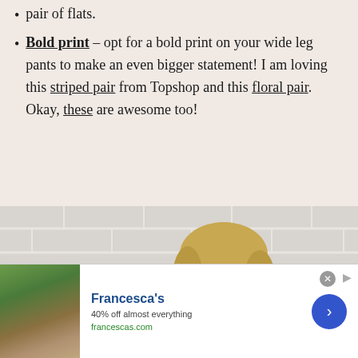pair of flats.
Bold print – opt for a bold print on your wide leg pants to make an even bigger statement! I am loving this striped pair from Topshop and this floral pair. Okay, these are awesome too!
[Figure (photo): Woman with blonde hair wearing tortoiseshell sunglasses, photographed in front of a white brick wall]
[Figure (other): Infolinks advertisement banner for Francesca's: '40% off almost everything' at francescas.com, with a store image thumbnail on the left and a blue arrow button on the right]